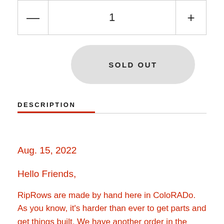| minus | quantity | plus |
| --- | --- | --- |
| — | 1 | + |
SOLD OUT
DESCRIPTION
Aug. 15, 2022
Hello Friends,
RipRows are made by hand here in ColoRADo. As you know, it's harder than ever to get parts and get things built. We have another order in the pipeline. We expect to be